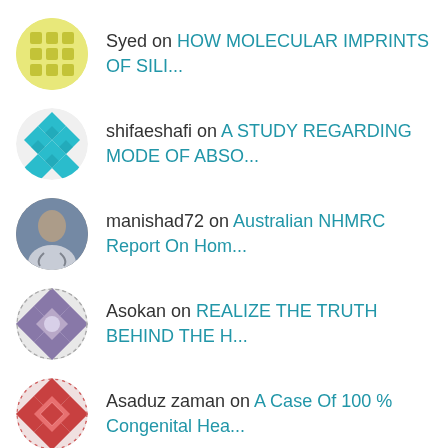Syed on HOW MOLECULAR IMPRINTS OF SILI...
shifaeshafi on A STUDY REGARDING MODE OF ABSO...
manishad72 on Australian NHMRC Report On Hom...
Asokan on REALIZE THE TRUTH BEHIND THE H...
Asaduz zaman on A Case Of 100 % Congenital Hea...
ME on Sycosis- Is It Miasm Of Gonorr...
(partial avatar visible)